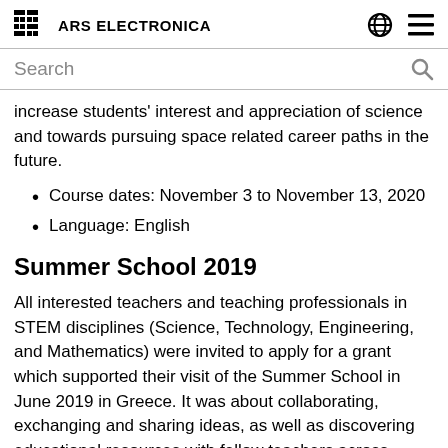ARS ELECTRONICA
increase students' interest and appreciation of science and towards pursuing space related career paths in the future.
Course dates: November 3 to November 13, 2020
Language: English
Summer School 2019
All interested teachers and teaching professionals in STEM disciplines (Science, Technology, Engineering, and Mathematics) were invited to apply for a grant which supported their visit of the Summer School in June 2019 in Greece. It was about collaborating, exchanging and sharing ideas, as well as discovering educational resources with fellow teachers across